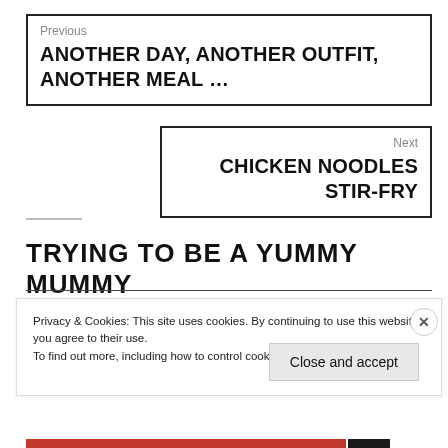Previous
ANOTHER DAY, ANOTHER OUTFIT, ANOTHER MEAL ...
Next
CHICKEN NOODLES STIR-FRY
TRYING TO BE A YUMMY MUMMY
Privacy & Cookies: This site uses cookies. By continuing to use this website, you agree to their use.
To find out more, including how to control cookies, see here: Cookie Policy
Close and accept